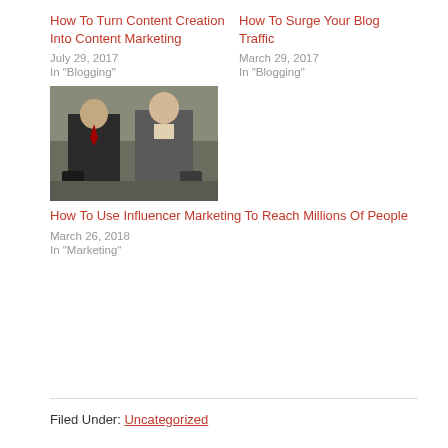How To Turn Content Creation Into Content Marketing
July 29, 2017
In "Blogging"
How To Surge Your Blog Traffic
March 29, 2017
In "Blogging"
[Figure (photo): Two business professionals standing outdoors, one in a dark suit with red tie, another in a grey suit]
How To Use Influencer Marketing To Reach Millions Of People
March 26, 2018
In "Marketing"
Filed Under: Uncategorized